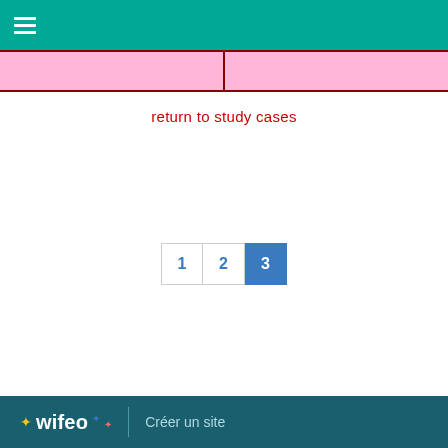[Figure (other): Two pink rectangular boxes side by side with dark red border]
return to study cases
[Figure (other): Pagination control showing pages 1, 2, 3 with page 3 highlighted in blue]
wifeo   Créer un site